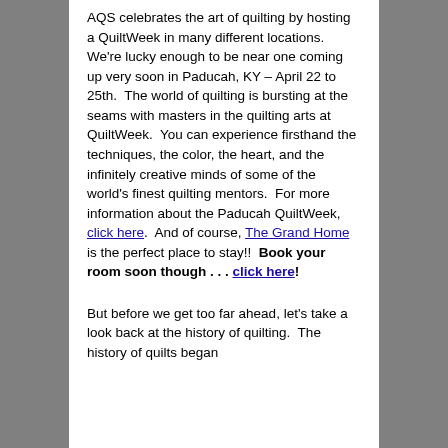AQS celebrates the art of quilting by hosting a QuiltWeek in many different locations.  We're lucky enough to be near one coming up very soon in Paducah, KY – April 22 to 25th.  The world of quilting is bursting at the seams with masters in the quilting arts at QuiltWeek.  You can experience firsthand the techniques, the color, the heart, and the infinitely creative minds of some of the world's finest quilting mentors.  For more information about the Paducah QuiltWeek, click here.  And of course, The Grand Home is the perfect place to stay!!  Book your room soon though . . . click here!
But before we get too far ahead, let's take a look back at the history of quilting.  The history of quilts began